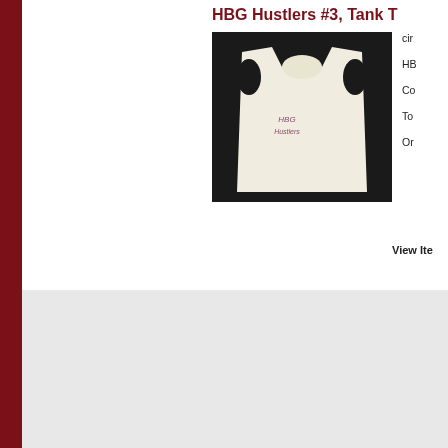HBG Hustlers #3, Tank T
[Figure (photo): A white sleeveless tank top shirt with 'HBG Hustlers' text on the chest, photographed on a dark background]
cir
HB
Co
To
Or
View Ite
Pennsman Bolo Tie - 1985
[Figure (photo): A bolo tie with a round turquoise and silver medallion pendant, photographed on a dark background]
198
A b
Co
To
Organiz